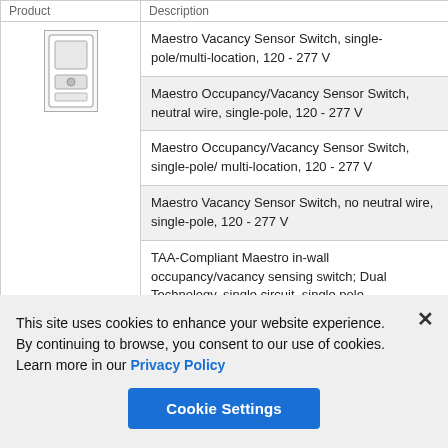| Product | Description |
| --- | --- |
| [image: sensor switch] | Maestro Vacancy Sensor Switch, single-pole/multi-location, 120 - 277 V |
|  | Maestro Occupancy/Vacancy Sensor Switch, neutral wire, single-pole, 120 - 277 V |
|  | Maestro Occupancy/Vacancy Sensor Switch, single-pole/ multi-location, 120 - 277 V |
|  | Maestro Vacancy Sensor Switch, no neutral wire, single-pole, 120 - 277 V |
|  | TAA-Compliant Maestro in-wall occupancy/vacancy sensing switch; Dual Technology, single circuit, single pole |
This site uses cookies to enhance your website experience. By continuing to browse, you consent to our use of cookies. Learn more in our Privacy Policy